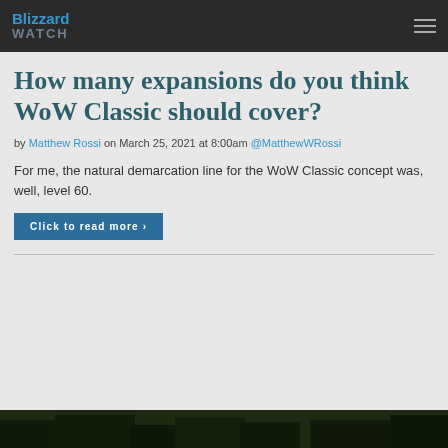Blizzard Watch
How many expansions do you think WoW Classic should cover?
by Matthew Rossi on March 25, 2021 at 8:00am @MatthewWRossi
For me, the natural demarcation line for the WoW Classic concept was, well, level 60.
Click to read more >
[Figure (photo): Dark fantasy game screenshot at the bottom of the page]